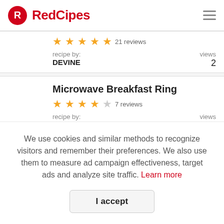RedCipes
21 reviews
recipe by:
DEVINE
views
2
Microwave Breakfast Ring
7 reviews
recipe by:
views
We use cookies and similar methods to recognize visitors and remember their preferences. We also use them to measure ad campaign effectiveness, target ads and analyze site traffic. Learn more
I accept